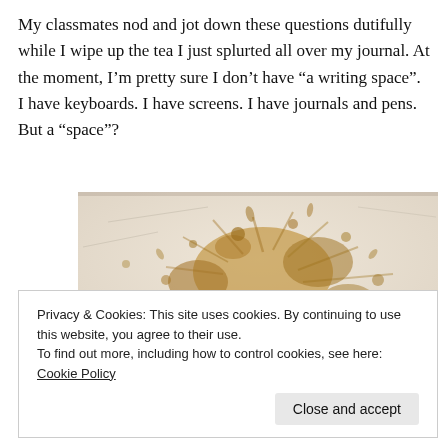My classmates nod and jot down these questions dutifully while I wipe up the tea I just splurted all over my journal. At the moment, I’m pretty sure I don’t have “a writing space”. I have keyboards. I have screens. I have journals and pens. But a “space”?
[Figure (photo): Close-up photo of tea or liquid splattered on a white/light surface, showing brownish stain marks and splash patterns]
Privacy & Cookies: This site uses cookies. By continuing to use this website, you agree to their use.
To find out more, including how to control cookies, see here: Cookie Policy
I think about this.